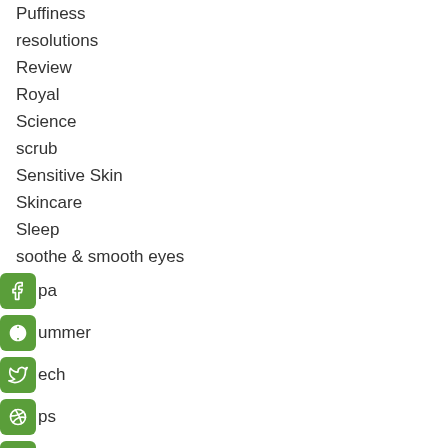Puffiness
resolutions
Review
Royal
Science
scrub
Sensitive Skin
Skincare
Sleep
soothe & smooth eyes
Spa
Summer
Tech
Tips
Wellness